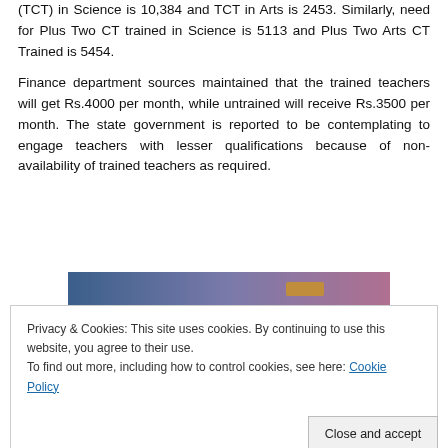(TCT) in Science is 10,384 and TCT in Arts is 2453. Similarly, need for Plus Two CT trained in Science is 5113 and Plus Two Arts CT Trained is 5454.
Finance department sources maintained that the trained teachers will get Rs.4000 per month, while untrained will receive Rs.3500 per month. The state government is reported to be contemplating to engage teachers with lesser qualifications because of non-availability of trained teachers as required.
[Figure (photo): Partial view of a webpage header image with blue-to-pink gradient background]
Privacy & Cookies: This site uses cookies. By continuing to use this website, you agree to their use.
To find out more, including how to control cookies, see here: Cookie Policy
Close and accept